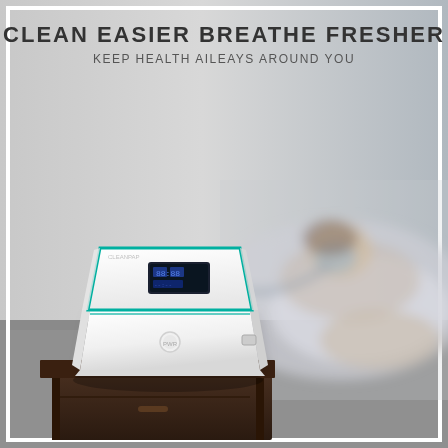CLEAN EASIER BREATHE FRESHER
KEEP HEALTH AILEAYS AROUND YOU
[Figure (photo): A white CPAP/respiratory cleaning device with a teal accent line around the top edge and a small display screen, sitting on a dark wooden nightstand. In the blurred background, a person is sleeping while wearing a CPAP mask. The setting is a bedroom.]